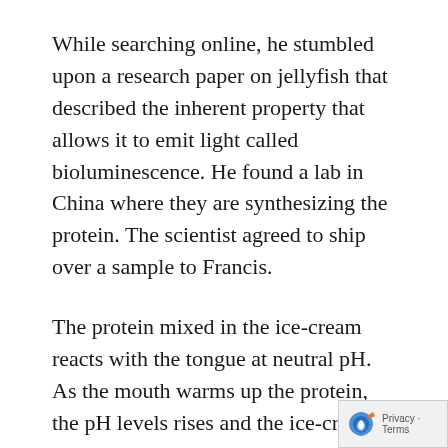While searching online, he stumbled upon a research paper on jellyfish that described the inherent property that allows it to emit light called bioluminescence. He found a lab in China where they are synthesizing the protein. The scientist agreed to ship over a sample to Francis.
The protein mixed in the ice-cream reacts with the tongue at neutral pH. As the mouth warms up the protein, the pH levels rises and the ice-cream starts to glow. Since the production of protein is still in its early stage, it costs Francis around $320 for just 2 grams.
Though it might sound too ambitious, Francis is looking at ways to create an invisible ice cream sounds practically impossible since ice crystals